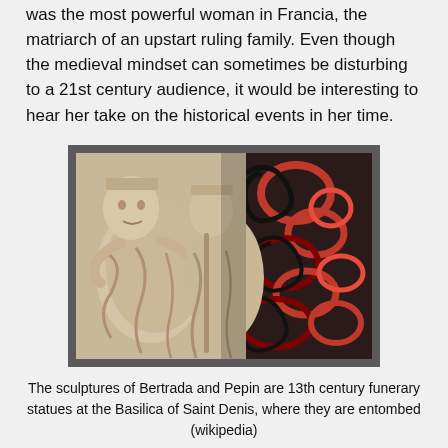was the most powerful woman in Francia, the matriarch of an upstart ruling family. Even though the medieval mindset can sometimes be disturbing to a 21st century audience, it would be interesting to hear her take on the historical events in her time.
[Figure (photo): A photograph of 13th century funerary sculptures of Bertrada and Pepin at the Basilica of Saint Denis. The sculptures show two reclining stone effigies in white/cream marble. The background shows colorful decorative ironwork with red and black swirling patterns.]
The sculptures of Bertrada and Pepin are 13th century funerary statues at the Basilica of Saint Denis, where they are entombed (wikipedia)